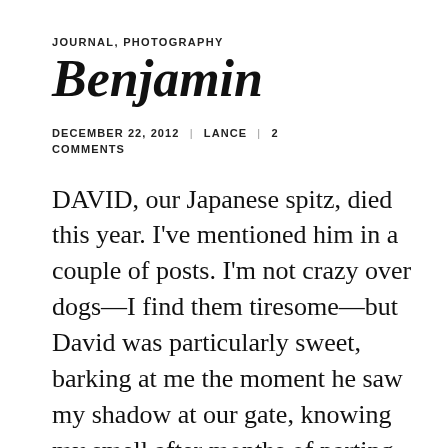JOURNAL, PHOTOGRAPHY
Benjamin
DECEMBER 22, 2012 | LANCE | 2 COMMENTS
DAVID, our Japanese spitz, died this year. I've mentioned him in a couple of posts. I'm not crazy over dogs—I find them tiresome—but David was particularly sweet, barking at me the moment he saw my shadow at our gate, knowing my smell after months of parting. He was my favorite,